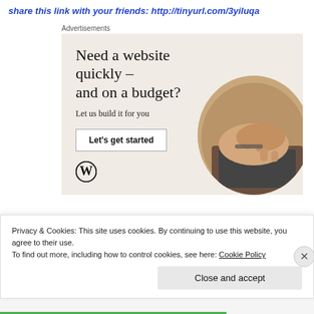share this link with your friends:  http://tinyurl.com/3yiluqa
Advertisements
[Figure (infographic): WordPress advertisement banner with beige background. Headline: 'Need a website quickly – and on a budget?' Subtext: 'Let us build it for you'. Button: 'Let's get started'. WordPress logo bottom left. Circular photo of person typing on laptop, bottom right.]
Privacy & Cookies: This site uses cookies. By continuing to use this website, you agree to their use.
To find out more, including how to control cookies, see here: Cookie Policy
Close and accept